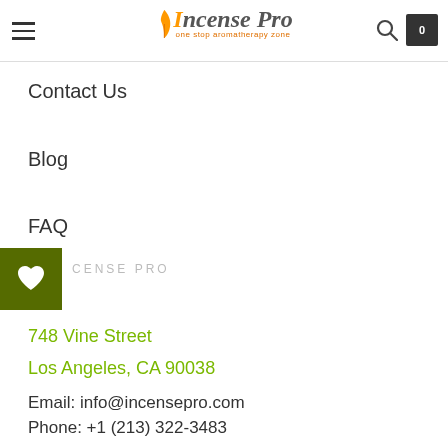Incense Pro — one stop aromatherapy zone
Contact Us
Blog
FAQ
INCENSE PRO
748 Vine Street
Los Angeles, CA 90038
Email: info@incensepro.com
Phone: +1 (213) 322-3483
Opening hours: Monday - Sunday
10:00 AM - 09:00 PM